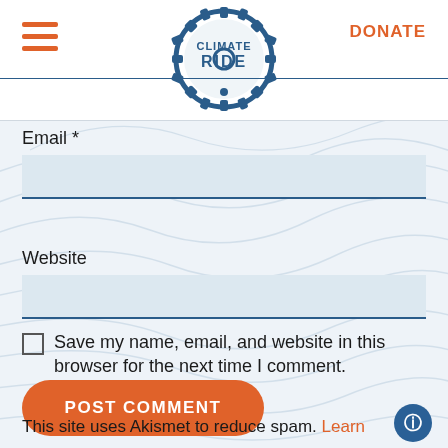[Figure (logo): Climate Ride logo — gear-shaped circular emblem with bicycle gear teeth, text CLIMATE RIDE inside in dark blue]
DONATE
Email *
Website
Save my name, email, and website in this browser for the next time I comment.
POST COMMENT
This site uses Akismet to reduce spam. Learn